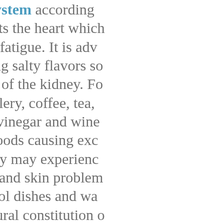the kidney system according to... kidney inhibits the heart which... coldness and fatigue. It is adv... while reducing salty flavors so... the workload of the kidney. Fo... asparagus, celery, coffee, tea,... leaves, kale, vinegar and wine... high calory foods causing exc... stomach. They may experienc... peptic ulcers and skin problem... amount of cool dishes and wa... boost the natural constitution ... associated with chronic condit... increase over winter when the... nutrients from foods can be st... ginseng, wolfberry, angelica,... mushrooms can be used for...